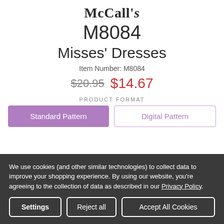McCall's
M8084
Misses' Dresses
Item Number: M8084
$20.95  $14.67
PRODUCT FORMAT
Standard Pattern
Digital Pattern
We use cookies (and other similar technologies) to collect data to improve your shopping experience. By using our website, you're agreeing to the collection of data as described in our Privacy Policy.
Settings  Reject all  Accept All Cookies